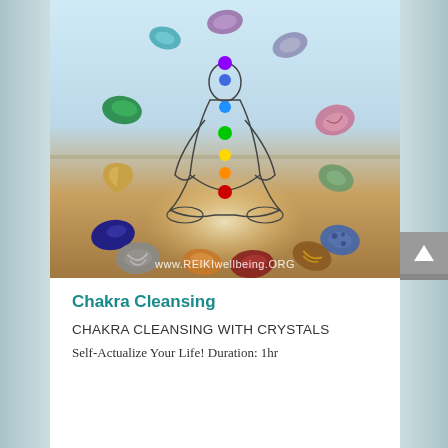[Figure (illustration): A chakra meditation figure seated in lotus position with 7 colored chakra dots (violet/purple at crown, blue at throat, blue at third eye, green at heart, yellow at solar plexus, orange at sacral, red at root), surrounded by various healing crystals and gemstones arranged in a circle. Background has a warm golden glow beneath the figure. Website watermark: www.REIKIwellbeing.ORG]
Chakra Cleansing
CHAKRA CLEANSING WITH CRYSTALS
Self-Actualize Your Life! Duration: 1hr